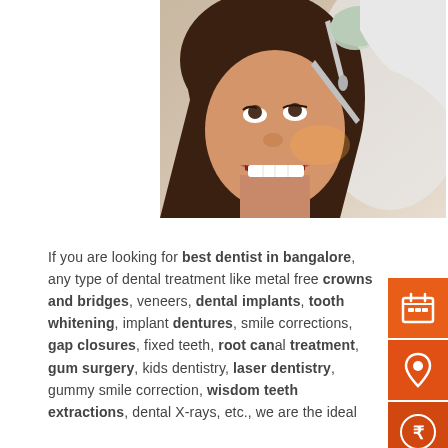[Figure (photo): A young woman with mouth open receiving dental examination, dentist in white coat and gloves using dental tools, clinical setting]
If you are looking for best dentist in bangalore, any type of dental treatment like metal free crowns and bridges, veneers, dental implants, tooth whitening, implant dentures, smile corrections, gap closures, fixed teeth, root canal treatment, gum surgery, kids dentistry, laser dentistry, gummy smile correction, wisdom teeth extractions, dental X-rays, etc., we are the ideal